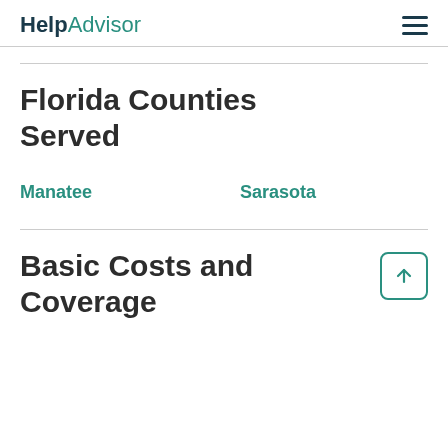HelpAdvisor
Florida Counties Served
Manatee
Sarasota
Basic Costs and Coverage